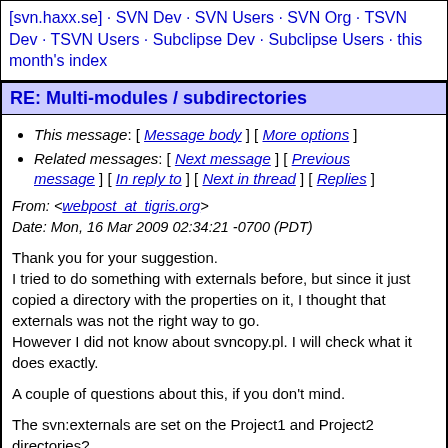[svn.haxx.se] · SVN Dev · SVN Users · SVN Org · TSVN Dev · TSVN Users · Subclipse Dev · Subclipse Users · this month's index
RE: Multi-modules / subdirectories
This message: [ Message body ] [ More options ]
Related messages: [ Next message ] [ Previous message ] [ In reply to ] [ Next in thread ] [ Replies ]
From: <webpost_at_tigris.org>
Date: Mon, 16 Mar 2009 02:34:21 -0700 (PDT)
Thank you for your suggestion.
I tried to do something with externals before, but since it just copied a directory with the properties on it, I thought that externals was not the right way to go.
However I did not know about svncopy.pl. I will check what it does exactly.

A couple of questions about this, if you don't mind.

The svn:externals are set on the Project1 and Project2 directories?